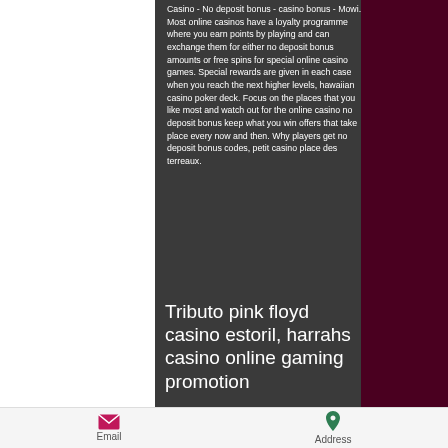Casino - No deposit bonus - casino bonus - Mowi. Most online casinos have a loyalty programme where you earn points by playing and can exchange them for either no deposit bonus amounts or free spins for special online casino games. Special rewards are given in each case when you reach the next higher levels, hawaiian casino poker deck. Focus on the places that you like most and watch out for the online casino no deposit bonus keep what you win offers that take place every now and then. Why players get no deposit bonus codes, petit casino place des terreaux.
Tributo pink floyd casino estoril, harrahs casino online gaming promotion
Email   Address